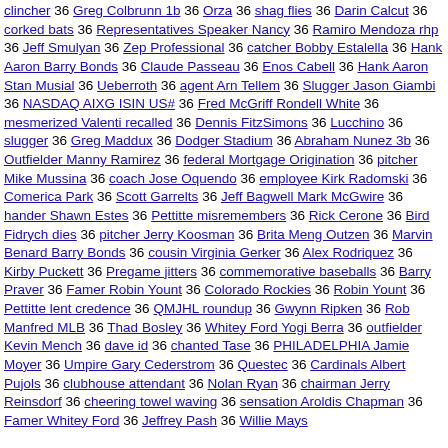clincher 36 Greg Colbrunn 1b 36 Orza 36 shag flies 36 Darin Calcut 36 corked bats 36 Representatives Speaker Nancy 36 Ramiro Mendoza rhp 36 Jeff Smulyan 36 Zep Professional 36 catcher Bobby Estalella 36 Hank Aaron Barry Bonds 36 Claude Passeau 36 Enos Cabell 36 Hank Aaron Stan Musial 36 Ueberroth 36 agent Arn Tellem 36 Slugger Jason Giambi 36 NASDAQ AIXG ISIN US# 36 Fred McGriff Rondell White 36 mesmerized Valenti recalled 36 Dennis FitzSimons 36 Lucchino 36 slugger 36 Greg Maddux 36 Dodger Stadium 36 Abraham Nunez 3b 36 Outfielder Manny Ramirez 36 federal Mortgage Origination 36 pitcher Mike Mussina 36 coach Jose Oquendo 36 employee Kirk Radomski 36 Comerica Park 36 Scott Garrelts 36 Jeff Bagwell Mark McGwire 36 hander Shawn Estes 36 Pettitte misremembers 36 Rick Cerone 36 Bird Fidrych dies 36 pitcher Jerry Koosman 36 Brita Meng Outzen 36 Marvin Benard Barry Bonds 36 cousin Virginia Gerker 36 Alex Rodriquez 36 Kirby Puckett 36 Pregame jitters 36 commemorative baseballs 36 Barry Praver 36 Famer Robin Yount 36 Colorado Rockies 36 Robin Yount 36 Pettitte lent credence 36 QMJHL roundup 36 Gwynn Ripken 36 Rob Manfred MLB 36 Thad Bosley 36 Whitey Ford Yogi Berra 36 outfielder Kevin Mench 36 dave id 36 chanted Tase 36 PHILADELPHIA Jamie Moyer 36 Umpire Gary Cederstrom 36 Questec 36 Cardinals Albert Pujols 36 clubhouse attendant 36 Nolan Ryan 36 chairman Jerry Reinsdorf 36 cheering towel waving 36 sensation Aroldis Chapman 36 Famer Whitey Ford 36 Jeffrey Pash 36 Willie Mays